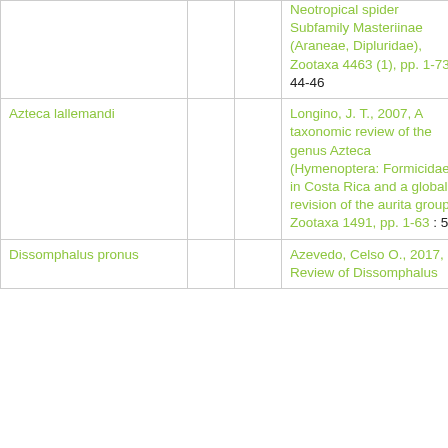| Species |  |  | Reference | Page |
| --- | --- | --- | --- | --- |
|  |  |  | Neotropical spider Subfamily Masteriinae (Araneae, Dipluridae), Zootaxa 4463 (1), pp. 1-73 : 44-46 |  |
| Azteca lallemandi |  |  | Longino, J. T., 2007, A taxonomic review of the genus Azteca (Hymenoptera: Formicidae) in Costa Rica and a global revision of the aurita group., Zootaxa 1491, pp. 1-63 : 56 | 56 |
| Dissomphalus pronus |  |  | Azevedo, Celso O., 2017, Review of Dissomphalus | 39 |